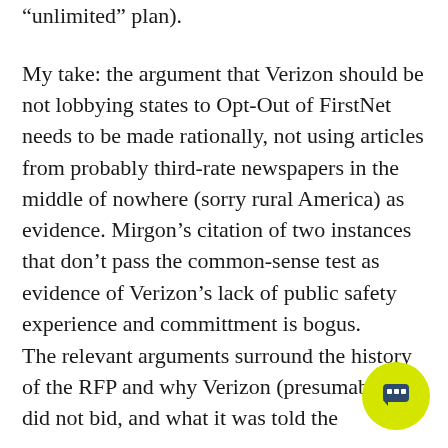“unlimited” plan).
My take: the argument that Verizon should be not lobbying states to Opt-Out of FirstNet needs to be made rationally, not using articles from probably third-rate newspapers in the middle of nowhere (sorry rural America) as evidence. Mirgon’s citation of two instances that don’t pass the common-sense test as evidence of Verizon’s lack of public safety experience and committment is bogus.
The relevant arguments surround the history of the RFP and why Verizon (presumably) did not bid, and what it was told the